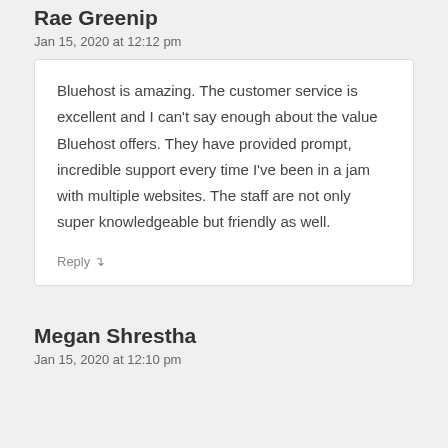Rae Greenip
Jan 15, 2020 at 12:12 pm
Bluehost is amazing. The customer service is excellent and I can't say enough about the value Bluehost offers. They have provided prompt, incredible support every time I've been in a jam with multiple websites. The staff are not only super knowledgeable but friendly as well.
Reply ↴
Megan Shrestha
Jan 15, 2020 at 12:10 pm